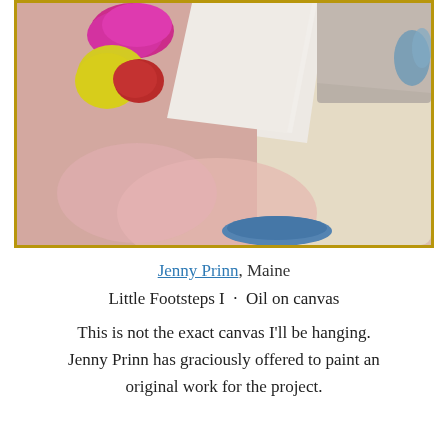[Figure (illustration): Abstract oil painting in a gold/wood frame. Features soft pink and beige background with colorful abstract shapes: a magenta/fuchsia blob upper left, a yellow irregular shape below it, a red blob overlapping the yellow, a white diagonal shape in the center-upper area, a gray area upper right with blue brushstrokes, a salmon/pink wash in the lower center, blue paint strokes at the lower center-right, and a large cream/beige area on the right side. The overall composition is soft and abstract.]
Jenny Prinn, Maine
Little Footsteps I · Oil on canvas
This is not the exact canvas I'll be hanging. Jenny Prinn has graciously offered to paint an original work for the project.